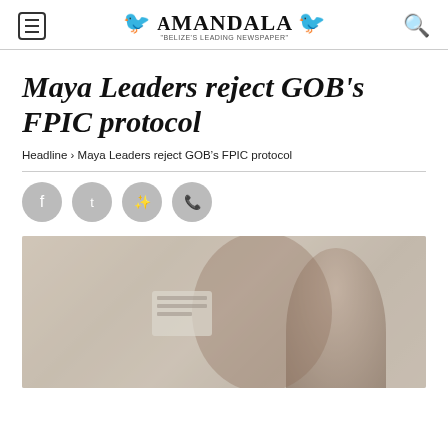Amandala – Belize's Leading Newspaper
Maya Leaders reject GOB's FPIC protocol
Headline › Maya Leaders reject GOB's FPIC protocol
[Figure (photo): Photograph related to Maya Leaders and GOB's FPIC protocol article, showing a person at what appears to be a press conference or meeting with signage visible in the background.]